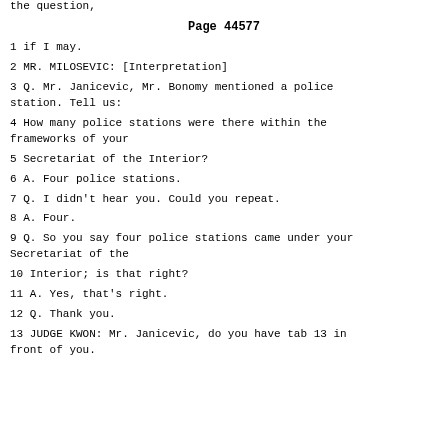the question,
Page 44577
1 if I may.
2 MR. MILOSEVIC: [Interpretation]
3 Q. Mr. Janicevic, Mr. Bonomy mentioned a police station. Tell us:
4 How many police stations were there within the frameworks of your
5 Secretariat of the Interior?
6 A. Four police stations.
7 Q. I didn't hear you. Could you repeat.
8 A. Four.
9 Q. So you say four police stations came under your Secretariat of the
10 Interior; is that right?
11 A. Yes, that's right.
12 Q. Thank you.
13 JUDGE KWON: Mr. Janicevic, do you have tab 13 in front of you.